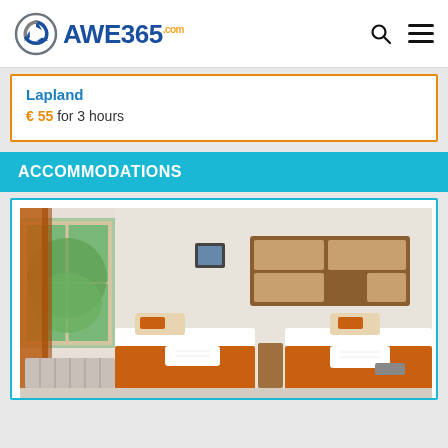AWE365.com
Lapland
€ 55 for 3 hours
ACCOMMODATIONS
[Figure (photo): Hotel room with two single beds, white bedding with orange/brown accents, orange curtains, window with garden view, wooden mirror cabinet on wall.]